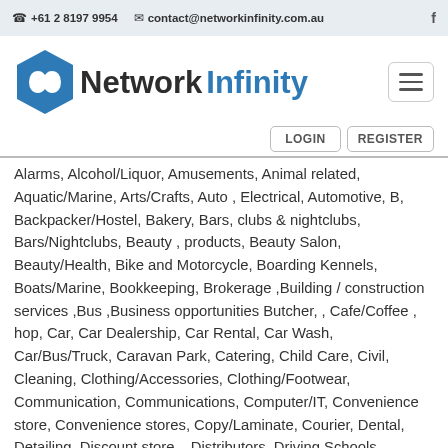☎ +61 2 8197 9954   ✉ contact@networkinfinity.com.au   f
[Figure (logo): Network Infinity logo: blue hexagon with infinity symbol, text 'Network' in dark and 'Infinity' in blue]
LOGIN   REGISTER
Alarms, Alcohol/Liquor, Amusements, Animal related, Aquatic/Marine, Arts/Crafts, Auto , Electrical, Automotive, B, Backpacker/Hostel, Bakery, Bars, clubs & nightclubs, Bars/Nightclubs, Beauty , products, Beauty Salon, Beauty/Health, Bike and Motorcycle, Boarding Kennels, Boats/Marine, Bookkeeping, Brokerage ,Building / construction services ,Bus ,Business opportunities Butcher, , Cafe/Coffee , hop, Car, Car Dealership, Car Rental, Car Wash, Car/Bus/Truck, Caravan Park, Catering, Child Care, Civil, Cleaning, Clothing/Accessories, Clothing/Footwear, Communication, Communications, Computer/IT, Convenience store, Convenience stores, Copy/Laminate, Courier, Dental, Detailing, Discount store, , Distributors, Driving Schools, Education/Training, Educational, Electrical, Employment/Recruitment, Employment/Recruitment ,